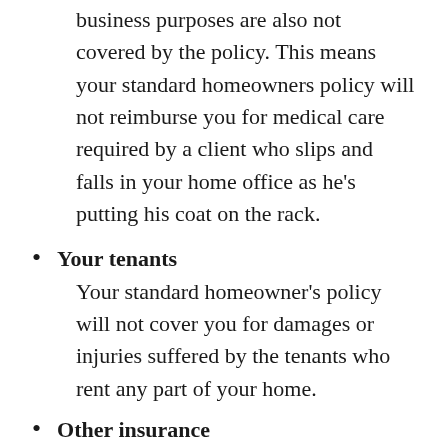business purposes are also not covered by the policy. This means your standard homeowners policy will not reimburse you for medical care required by a client who slips and falls in your home office as he's putting his coat on the rack.
Your tenants
Your standard homeowner's policy will not cover you for damages or injuries suffered by the tenants who rent any part of your home.
Other insurance
If an injury or damage is covered by other insurance in addition to your homeowner's policy, your homeowner's insurance company will only pay its proportionate